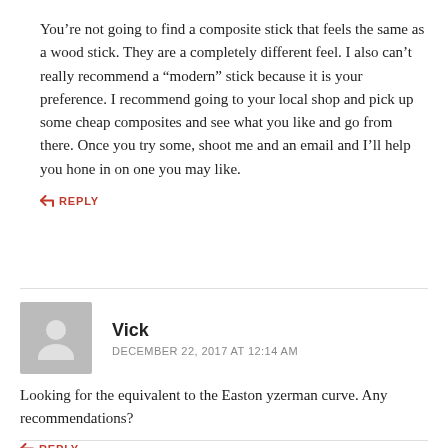You’re not going to find a composite stick that feels the same as a wood stick. They are a completely different feel. I also can’t really recommend a “modern” stick because it is your preference. I recommend going to your local shop and pick up some cheap composites and see what you like and go from there. Once you try some, shoot me and an email and I’ll help you hone in on one you may like.
REPLY
Vick
DECEMBER 22, 2017 AT 12:14 AM
Looking for the equivalent to the Easton yzerman curve. Any recommendations?
REPLY